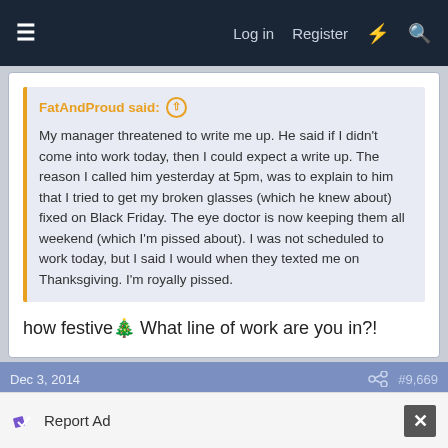Log in  Register
FatAndProud said:
My manager threatened to write me up. He said if I didn't come into work today, then I could expect a write up. The reason I called him yesterday at 5pm, was to explain to him that I tried to get my broken glasses (which he knew about) fixed on Black Friday. The eye doctor is now keeping them all weekend (which I'm pissed about). I was not scheduled to work today, but I said I would when they texted me on Thanksgiving. I'm royally pissed.
how festive🎄 What line of work are you in?!
Dec 3, 2014  #9,669
Report Ad